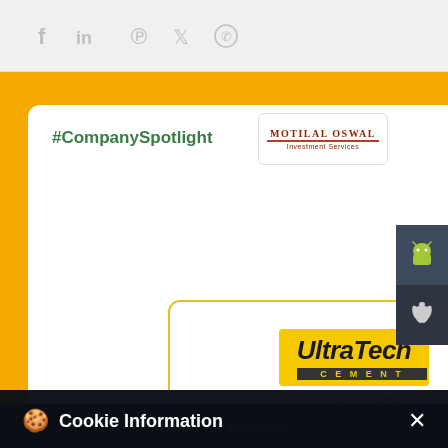[Figure (screenshot): Social media share icons: Facebook, LinkedIn, Pinterest, Twitter, WhatsApp in grey on light background]
#CompanySpotlight
[Figure (logo): Motilal Oswal Investment Services logo with red underline]
[Figure (logo): UltraTech Cement - The Engineer's Choice logo in yellow and dark background]
[Figure (other): Android app download side button (dark grey)]
[Figure (other): Apple app download side button (darker grey)]
Cookie Information
On our website, we use services (including from third-party providers) that help us to improve our online presence (optimization of website) and to display content that is geared to their interests. We need your consent before being able to use these services.
Open an account